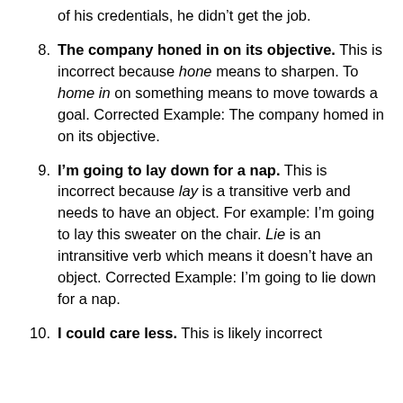(continuation) of his credentials, he didn't get the job.
8. The company honed in on its objective. This is incorrect because hone means to sharpen. To home in on something means to move towards a goal. Corrected Example: The company homed in on its objective.
9. I'm going to lay down for a nap. This is incorrect because lay is a transitive verb and needs to have an object. For example: I'm going to lay this sweater on the chair. Lie is an intransitive verb which means it doesn't have an object. Corrected Example: I'm going to lie down for a nap.
10. I could care less. This is likely incorrect...